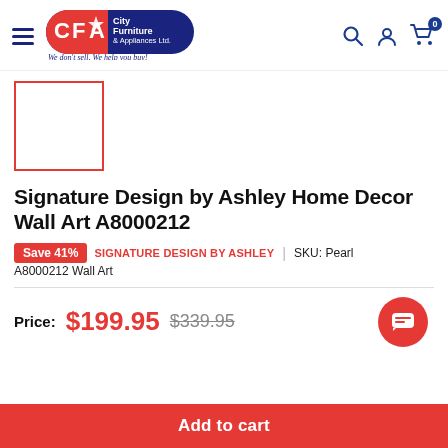[Figure (logo): CFA City Furniture & Appliances Ltd. logo with tagline 'We don't sell, We help you buy!']
[Figure (photo): Product thumbnail placeholder (empty white box with red border)]
Signature Design by Ashley Home Decor Wall Art A8000212
Save 41%   SIGNATURE DESIGN BY ASHLEY  |  SKU: Pearl A8000212 Wall Art
Price: $199.95  $339.95
Add to cart